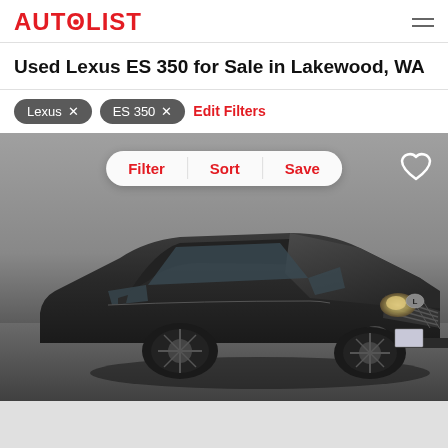AUTOLIST
Used Lexus ES 350 for Sale in Lakewood, WA
Lexus × ES 350 × Edit Filters
[Figure (photo): Dark gray Lexus ES 350 sedan photographed from a front three-quarter angle in a dealership setting. Overlay buttons: Filter, Sort, Save. Heart/favorite icon top right. Filter tags: Lexus ×, ES 350 ×, Edit Filters link.]